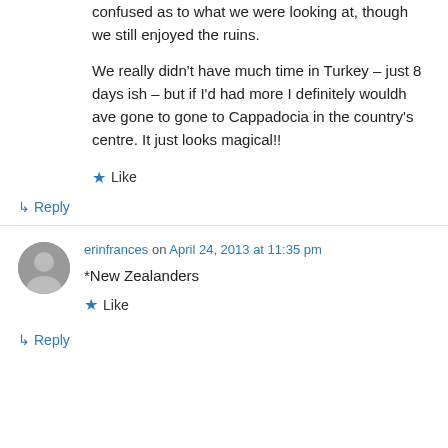confused as to what we were looking at, though we still enjoyed the ruins.

We really didn't have much time in Turkey – just 8 days ish – but if I'd had more I definitely wouldh ave gone to gone to Cappadocia in the country's centre. It just looks magical!!
Like
↳ Reply
erinfrances on April 24, 2013 at 11:35 pm
*New Zealanders
Like
↳ Reply